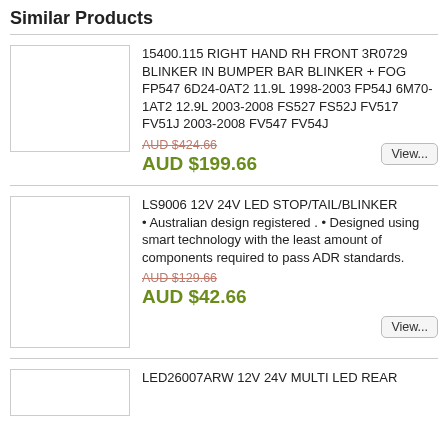Similar Products
15400.115 RIGHT HAND RH FRONT 3R0729 BLINKER IN BUMPER BAR BLINKER + FOG FP547 6D24-0AT2 11.9L 1998-2003 FP54J 6M70-1AT2 12.9L 2003-2008 FS527 FS52J FV517 FV51J 2003-2008 FV547 FV54J
AUD $424.66
AUD $199.66
LS9006 12V 24V LED STOP/TAIL/BLINKER • Australian design registered . • Designed using smart technology with the least amount of components required to pass ADR standards.
AUD $129.66
AUD $42.66
LED26007ARW 12V 24V MULTI LED REAR